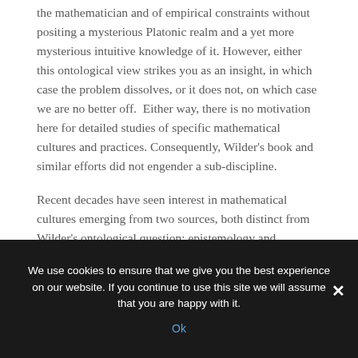that mathematical objects are independent both of the mathematician and of empirical constraints without positing a mysterious Platonic realm and a yet more mysterious intuitive knowledge of it. However, either this ontological view strikes you as an insight, in which case the problem dissolves, or it does not, on which case we are no better off. Either way, there is no motivation here for detailed studies of specific mathematical cultures and practices. Consequently, Wilder's book and similar efforts did not engender a sub-discipline.
Recent decades have seen interest in mathematical cultures emerging from two sources, both distinct from Wilder's ontological question: epistemology and
We use cookies to ensure that we give you the best experience on our website. If you continue to use this site we will assume that you are happy with it.
Ok